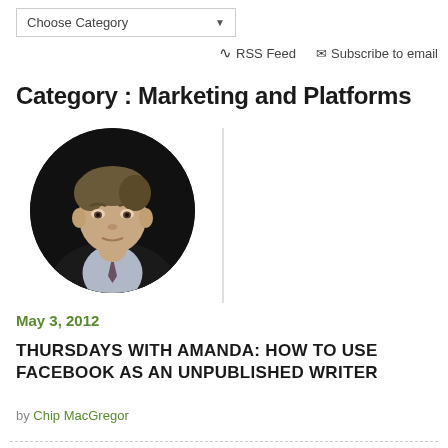Choose Category
RSS Feed   Subscribe to email
Category : Marketing and Platforms
[Figure (photo): Circular headshot photo of a middle-aged man in a dark suit and tie against a dark background]
May 3, 2012
THURSDAYS WITH AMANDA: HOW TO USE FACEBOOK AS AN UNPUBLISHED WRITER
by Chip MacGregor